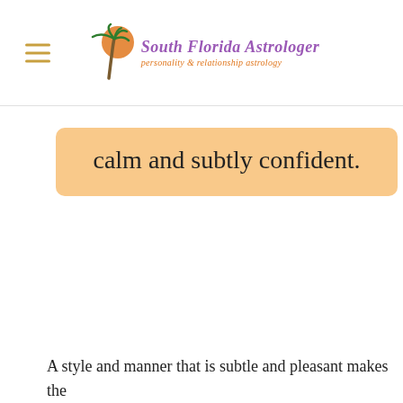South Florida Astrologer — personality & relationship astrology
calm and subtly confident.
A style and manner that is subtle and pleasant makes the